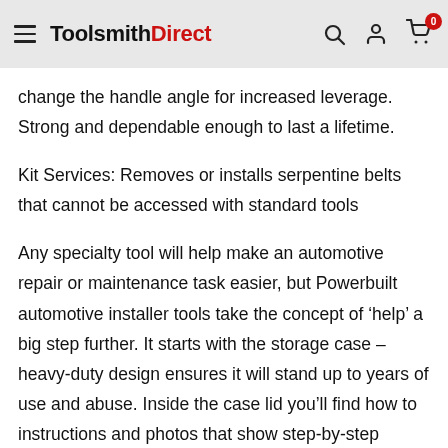ToolsmithDirect — navigation header with logo, search, account, and cart icons
change the handle angle for increased leverage. Strong and dependable enough to last a lifetime.
Kit Services: Removes or installs serpentine belts that cannot be accessed with standard tools
Any specialty tool will help make an automotive repair or maintenance task easier, but Powerbuilt automotive installer tools take the concept of ‘help’ a big step further. It starts with the storage case – heavy-duty design ensures it will stand up to years of use and abuse. Inside the case lid you’ll find how to instructions and photos that show step-by-step usage instructions.
The finishing touch? All Powerbuilt installer kits meet or